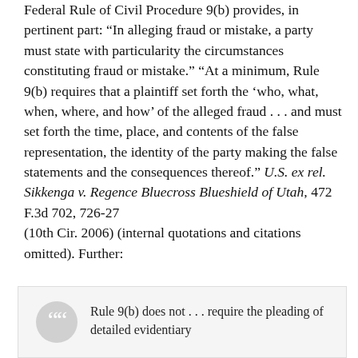Federal Rule of Civil Procedure 9(b) provides, in pertinent part: “In alleging fraud or mistake, a party must state with particularity the circumstances constituting fraud or mistake.” “At a minimum, Rule 9(b) requires that a plaintiff set forth the ‘who, what, when, where, and how’ of the alleged fraud . . . and must set forth the time, place, and contents of the false representation, the identity of the party making the false statements and the consequences thereof.” U.S. ex rel. Sikkenga v. Regence Bluecross Blueshield of Utah, 472 F.3d 702, 726-27 (10th Cir. 2006) (internal quotations and citations omitted). Further:
Rule 9(b) does not . . . require the pleading of detailed evidentiary